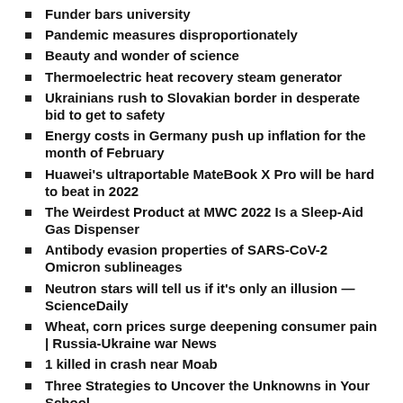Funder bars university
Pandemic measures disproportionately
Beauty and wonder of science
Thermoelectric heat recovery steam generator
Ukrainians rush to Slovakian border in desperate bid to get to safety
Energy costs in Germany push up inflation for the month of February
Huawei's ultraportable MateBook X Pro will be hard to beat in 2022
The Weirdest Product at MWC 2022 Is a Sleep-Aid Gas Dispenser
Antibody evasion properties of SARS-CoV-2 Omicron sublineages
Neutron stars will tell us if it's only an illusion — ScienceDaily
Wheat, corn prices surge deepening consumer pain | Russia-Ukraine war News
1 killed in crash near Moab
Three Strategies to Uncover the Unknowns in Your School
Daily Cartoon: Thursday, March 3rd